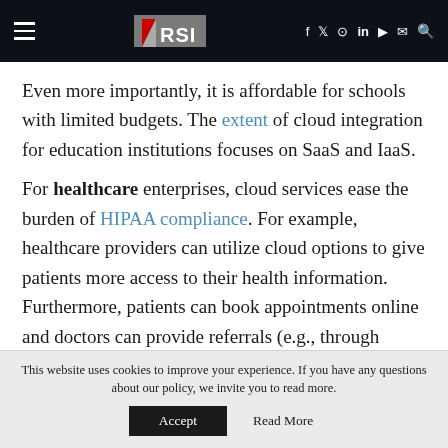RSI — navigation header with hamburger menu and social icons
Even more importantly, it is affordable for schools with limited budgets. The extent of cloud integration for education institutions focuses on SaaS and IaaS.
For healthcare enterprises, cloud services ease the burden of HIPAA compliance. For example, healthcare providers can utilize cloud options to give patients more access to their health information. Furthermore, patients can book appointments online and doctors can provide referrals (e.g., through cloud
This website uses cookies to improve your experience. If you have any questions about our policy, we invite you to read more.